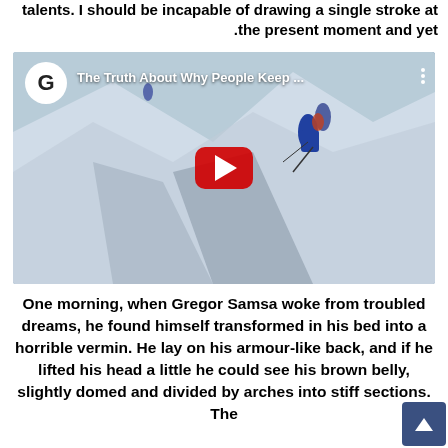talents. I should be incapable of drawing a single stroke at the present moment and yet.
[Figure (screenshot): YouTube video thumbnail showing mountain climbers on a snowy slope. Video title: 'The Truth About Why People Keep ...' with channel icon 'G' and red play button in center.]
One morning, when Gregor Samsa woke from troubled dreams, he found himself transformed in his bed into a horrible vermin. He lay on his armour-like back, and if he lifted his head a little he could see his brown belly, slightly domed and divided by arches into stiff sections. The